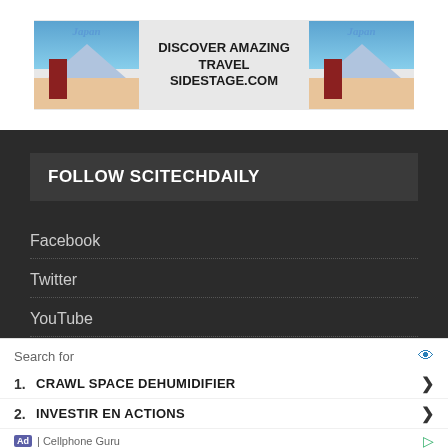[Figure (other): Advertisement banner for travel website showing Japan pagoda imagery on both sides with text 'DISCOVER AMAZING TRAVEL SIDESTAGE.COM' in the center]
FOLLOW SCITECHDAILY
Facebook
Twitter
YouTube
Pinterest
[Figure (other): Bottom advertisement with search results listing: 1. CRAWL SPACE DEHUMIDIFIER, 2. INVESTIR EN ACTIONS. Footer shows 'Ad | Cellphone Guru']